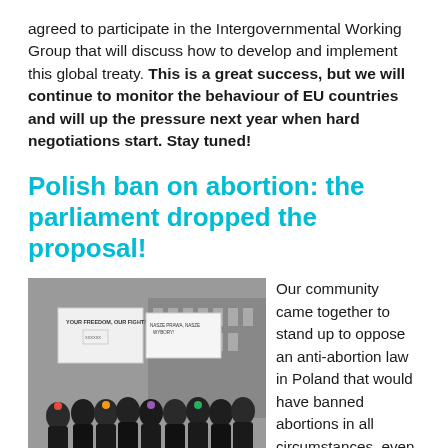agreed to participate in the Intergovernmental Working Group that will discuss how to develop and implement this global treaty. This is a great success, but we will continue to monitor the behaviour of EU countries and will up the pressure next year when hard negotiations start. Stay tuned!
Polish ban on abortion: the parliament dropped the proposal!
[Figure (photo): Group of people outdoors at a protest or rally, holding signs. Signs read 'YOUR FREEDOM, OUR FIGHT!' and another sign in Polish. People are wearing colorful accessories.]
Our community came together to stand up to oppose an anti-abortion law in Poland that would have banned abortions in all circumstances, even in cases of rape.